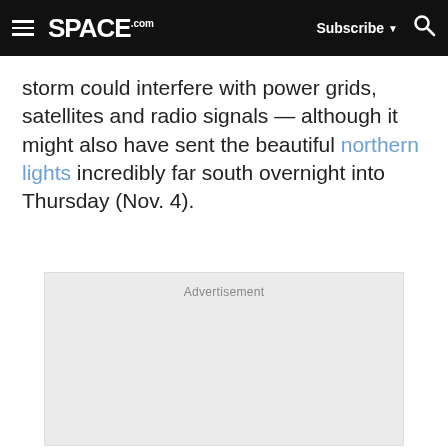SPACE.com | Subscribe | Search
storm could interfere with power grids, satellites and radio signals — although it might also have sent the beautiful northern lights incredibly far south overnight into Thursday (Nov. 4).
[Figure (other): Advertisement placeholder box with label 'Advertisement']